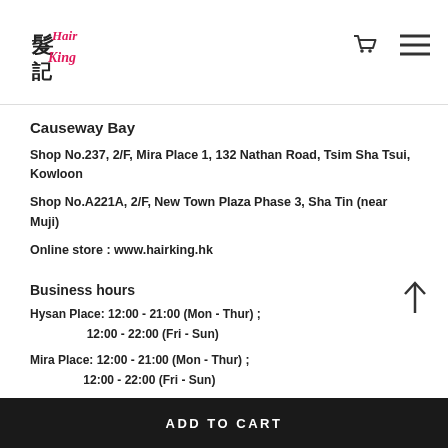Hair King 髮記 [logo] [cart icon] [menu icon]
Causeway Bay
Shop No.237, 2/F, Mira Place 1, 132 Nathan Road, Tsim Sha Tsui, Kowloon
Shop No.A221A, 2/F, New Town Plaza Phase 3, Sha Tin (near Muji)
Online store : www.hairking.hk
Business hours
Hysan Place: 12:00 - 21:00 (Mon - Thur) ; 12:00 - 22:00 (Fri - Sun)
Mira Place: 12:00 - 21:00 (Mon - Thur) ; 12:00 - 22:00 (Fri - Sun)
New Town Plaza: 12:00 - 21:00 (Mon - Sun)
ADD TO CART